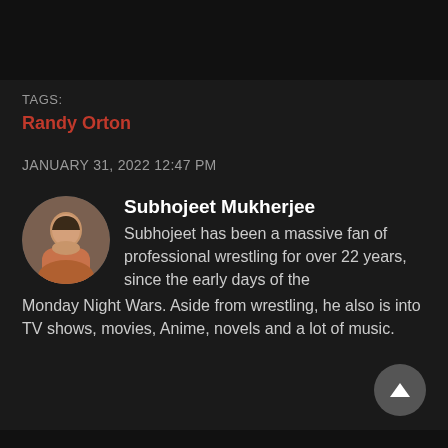TAGS:
Randy Orton
JANUARY 31, 2022 12:47 PM
Subhojeet Mukherjee
Subhojeet has been a massive fan of professional wrestling for over 22 years, since the early days of the Monday Night Wars. Aside from wrestling, he also is into TV shows, movies, Anime, novels and a lot of music.